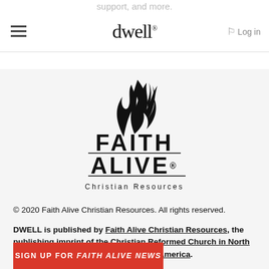support, and more.
dwell  Log in
[Figure (logo): Faith Alive Christian Resources logo with flame icon above bold text FAITH ALIVE and subtitle Christian Resources]
© 2020 Faith Alive Christian Resources. All rights reserved.
DWELL is published by Faith Alive Christian Resources, the publishing imprint of the Christian Reformed Church in North America and the Reformed Church in America.
SIGN UP FOR FAITH ALIVE NEWS